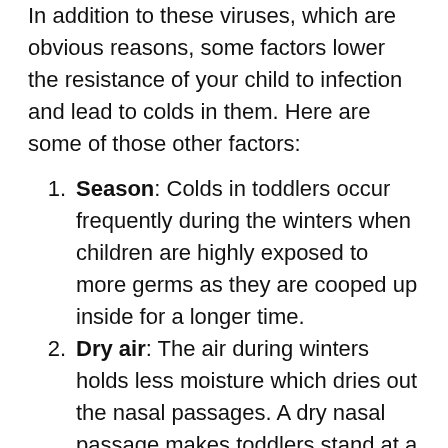In addition to these viruses, which are obvious reasons, some factors lower the resistance of your child to infection and lead to colds in them. Here are some of those other factors:
Season: Colds in toddlers occur frequently during the winters when children are highly exposed to more germs as they are cooped up inside for a longer time.
Dry air: The air during winters holds less moisture which dries out the nasal passages. A dry nasal passage makes toddlers stand at a higher rate of contracting viruses